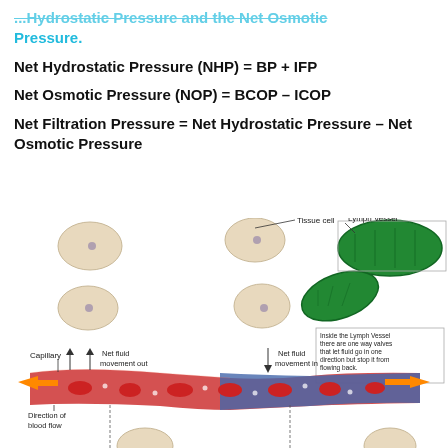...Hydrostatic Pressure and the Net Osmotic Pressure.
[Figure (illustration): Diagram showing capillary fluid exchange with tissue cells and lymph vessel. Shows net fluid movement out and net fluid movement in, direction of blood flow with orange arrows and red blood cells inside the capillary. Tissue cells shown as beige ovals. Green lymph vessel shown with label explaining one-way valves. Labels: Tissue cell, Lymph Vessel, Inside the Lymph Vessel there are one way valves that let fluid go in one direction but stop it from flowing back., Capillary, Net fluid movement out, Net fluid movement in, Direction of blood flow.]